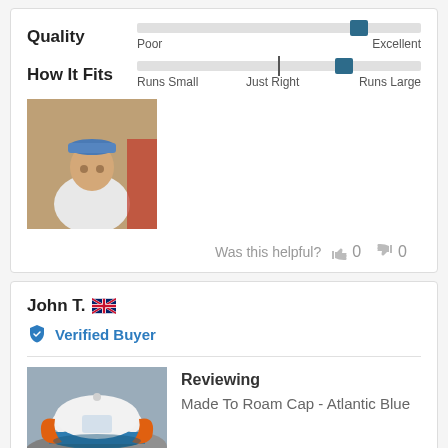[Figure (infographic): Quality rating bar with indicator positioned near the right end (excellent side). Bar goes from Poor to Excellent.]
[Figure (infographic): How It Fits rating bar with tick mark at center and indicator positioned right of center toward Runs Large. Bar goes from Runs Small to Just Right to Runs Large.]
[Figure (photo): Profile photo of a man wearing a white shirt and blue cap, outdoors.]
Was this helpful? 0 0
John T. 🇬🇧
Verified Buyer
[Figure (photo): Product photo of a cap (orange and white trucker cap with blue brim) on rocks.]
Reviewing
Made To Roam Cap - Atlantic Blue